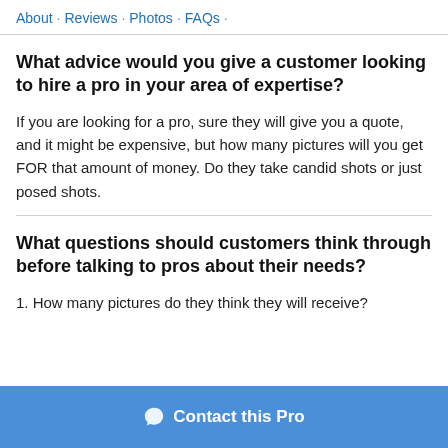About · Reviews · Photos · FAQs ·
What advice would you give a customer looking to hire a pro in your area of expertise?
If you are looking for a pro, sure they will give you a quote, and it might be expensive, but how many pictures will you get FOR that amount of money. Do they take candid shots or just posed shots.
What questions should customers think through before talking to pros about their needs?
1. How many pictures do they think they will receive?
Contact this Pro